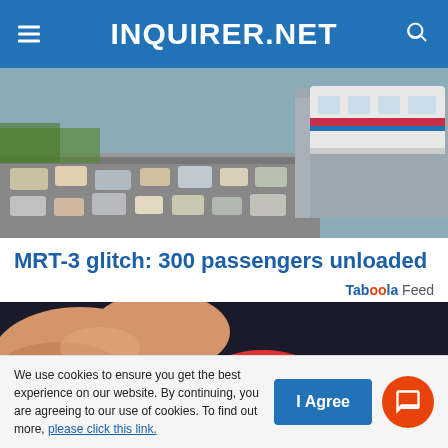INQUIRER.NET
[Figure (photo): Aerial/elevated view of MRT-3 train and traffic jam on EDSA highway]
MRT-3 glitch: 300 passengers unloaded
Taboola Feed
[Figure (photo): Close-up of fingers holding a red sugary gummy candy against a dark background]
We use cookies to ensure you get the best experience on our website. By continuing, you are agreeing to our use of cookies. To find out more, please click this link.